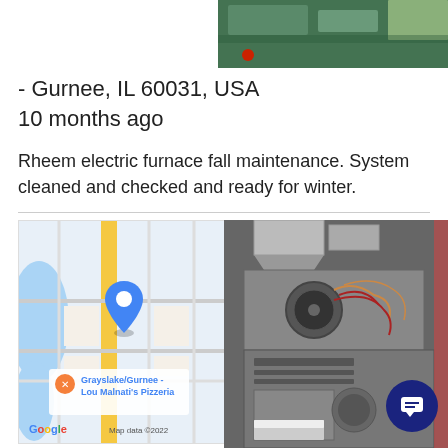[Figure (photo): Photo of furnace equipment, partially cropped at top right]
- Gurnee, IL 60031, USA
10 months ago
Rheem electric furnace fall maintenance. System cleaned and checked and ready for winter.
[Figure (map): Google Maps screenshot showing Grayslake/Gurnee area with location pin near Lou Malnati's Pizzeria. Map data ©2022]
[Figure (photo): Photo of a furnace with internal components visible including wiring, motor, and metal housing]